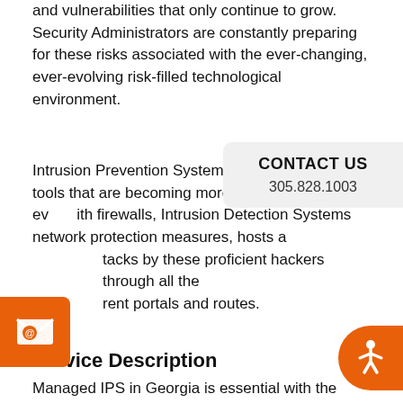and vulnerabilities that only continue to grow. Security Administrators are constantly preparing for these risks associated with the ever-changing, ever-evolving risk-filled technological environment.
Intrusion Prevention Systems (IPS) are invaluable tools that are becoming more necessary; even with firewalls, Intrusion Detection Systems and other network protection measures, hosts are prone to attacks by these proficient hackers through all the different portals and routes.
Service Description
Managed IPS in Georgia is essential with the multitude of risks, viruses, and vulnerabilities that only continue to grow, and security administrators need to constantly prepare for and mitigate these risks associated with the ever-changing, ever-evolving risk-filled technological